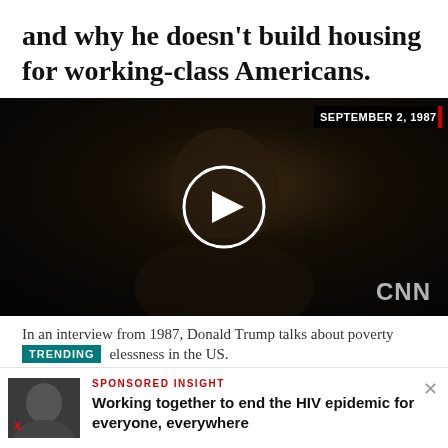and why he doesn't build housing for working-class Americans.
[Figure (screenshot): CNN video thumbnail showing a man in a suit being interviewed, with timestamp 'SEPTEMBER 2, 1987' and a play button overlay. CNN logo in bottom right.]
In an interview from 1987, Donald Trump talks about poverty and homelessness in the US.
TRENDING
SPONSORED INSIGHT
Working together to end the HIV epidemic for everyone, everywhere